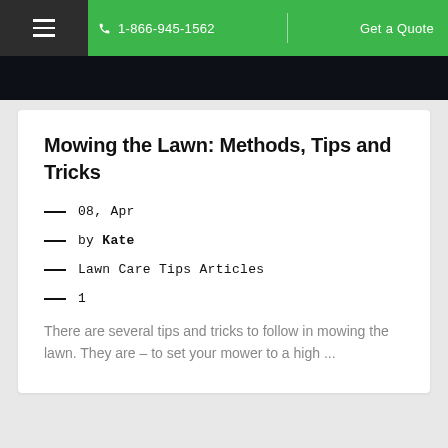1-866-945-1562  Get a Quote
Mowing the Lawn: Methods, Tips and Tricks
08, Apr
by Kate
Lawn Care Tips Articles
1
There are several tips and tricks to follow in mowing the lawn. They are – to set your mower to a high ...